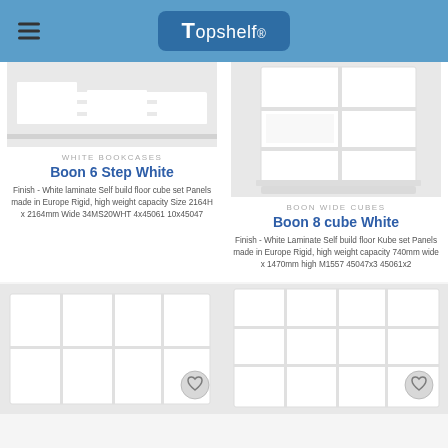Topshelf
[Figure (photo): Partial view of Boon 6 Step White bookcase - white laminate step shelf unit]
WHITE BOOKCASES
Boon 6 Step White
Finish - White laminate Self build floor cube set Panels made in Europe Rigid, high weight capacity Size 2164H x 2164mm Wide 34MS20WHT 4x45061 10x45047
[Figure (photo): Boon 8 cube White bookcase - white cube shelving unit]
BOON WIDE CUBES
Boon 8 cube White
Finish - White Laminate Self build floor Kube set Panels made in Europe Rigid, high weight capacity 740mm wide x 1470mm high M1557 45047x3 45061x2
[Figure (photo): White cube bookcase bottom left product thumbnail with heart/wishlist icon]
[Figure (photo): White cube bookcase bottom right product thumbnail with heart/wishlist icon]